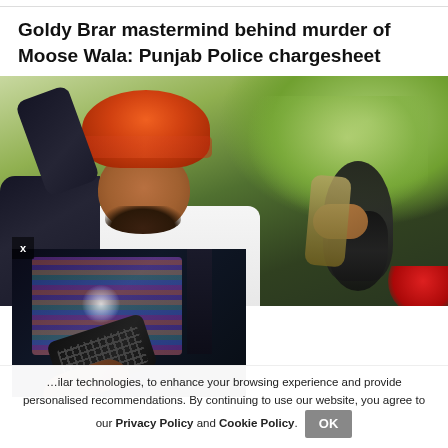Goldy Brar mastermind behind murder of Moose Wala: Punjab Police chargesheet
[Figure (photo): Photo of a man wearing an orange turban and white shirt, seated in a vehicle, with green foliage in the background. An overlay popup shows a hand holding a TV remote with a television screen visible in a dark background.]
…ilar technologies, to enhance your browsing experience and provide personalised recommendations. By continuing to use our website, you agree to our Privacy Policy and Cookie Policy.